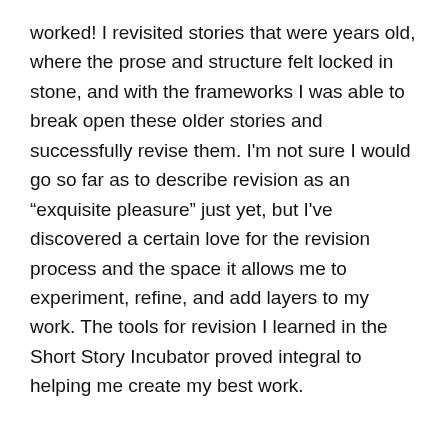worked! I revisited stories that were years old, where the prose and structure felt locked in stone, and with the frameworks I was able to break open these older stories and successfully revise them. I'm not sure I would go so far as to describe revision as an “exquisite pleasure” just yet, but I've discovered a certain love for the revision process and the space it allows me to experiment, refine, and add layers to my work. The tools for revision I learned in the Short Story Incubator proved integral to helping me create my best work.
2. Publishing: Pushing Beyond “Close” Rejections to Acceptance
When I first read about the Short Story Incubator and